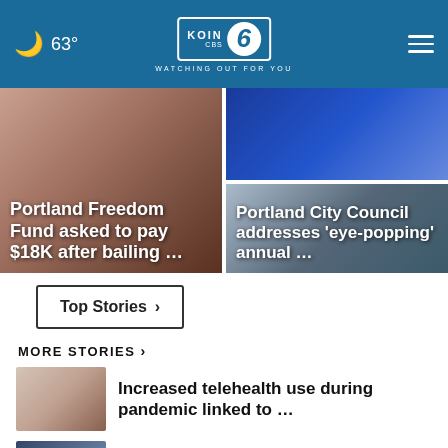63° KOIN 6 CBS WATCHING OUT FOR YOU
[Figure (photo): News story card: Portland Freedom Fund asked to pay $18K after bailing ...]
[Figure (photo): News story card: Portland City Council addresses 'eye-popping' annual ...]
Top Stories ›
MORE STORIES ›
[Figure (photo): Thumbnail for: Increased telehealth use during pandemic linked to ...]
Increased telehealth use during pandemic linked to ...
[Figure (photo): Thumbnail for: U.S. airline passenger complaints]
U.S. airline passenger complaints